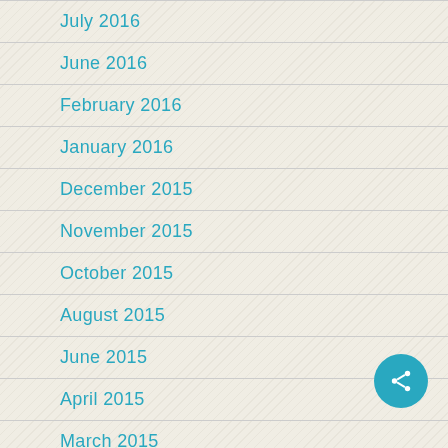July 2016
June 2016
February 2016
January 2016
December 2015
November 2015
October 2015
August 2015
June 2015
April 2015
March 2015